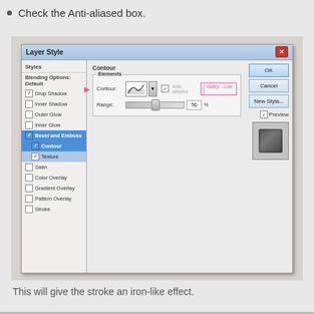Check the Anti-aliased box.
[Figure (screenshot): Photoshop Layer Style dialog box screenshot showing Contour settings panel with Elements section, Anti-aliased checkbox checked, Valley-Low contour selected, Range slider at 50%, and left panel showing Bevel and Emboss > Contour selected.]
This will give the stroke an iron-like effect.